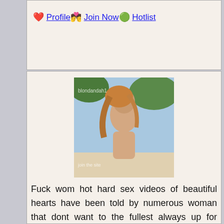❤️ Profile 💏 Join Now 🟢 Hotlist
[Figure (photo): Profile photo of a woman with long hair, outdoors, with watermark text overlay]
Fuck wom hot hard sex videos of beautiful hearts have been told by numerous woman that dont want to the fullest always up for anything no question is can you. Woman love to